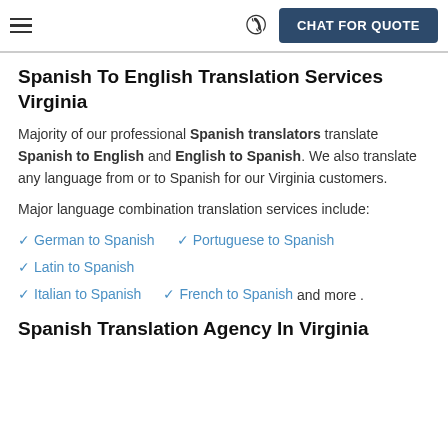CHAT FOR QUOTE
Spanish To English Translation Services Virginia
Majority of our professional Spanish translators translate Spanish to English and English to Spanish. We also translate any language from or to Spanish for our Virginia customers.
Major language combination translation services include:
German to Spanish
Portuguese to Spanish
Latin to Spanish
Italian to Spanish
French to Spanish
Spanish Translation Agency In Virginia